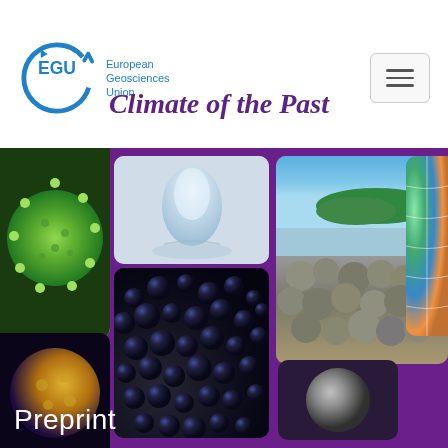[Figure (logo): EGU European Geosciences Union logo with circular arrow icon in blue]
Climate of the Past
[Figure (photo): Collage banner image on purple background showing: green pollen grain, water droplets, black beads/bubbles on dish, coral reef with tropical island, partial globe diagram, and a dark sphere. Purple/violet background behind all panels.]
Preprint